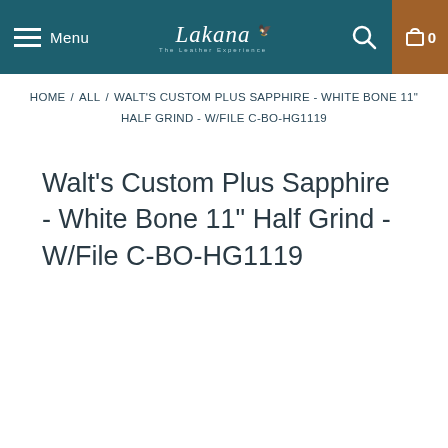Menu | Lakana | 0
HOME / ALL / WALT'S CUSTOM PLUS SAPPHIRE - WHITE BONE 11" HALF GRIND - W/FILE C-BO-HG1119
Walt's Custom Plus Sapphire - White Bone 11" Half Grind - W/File C-BO-HG1119